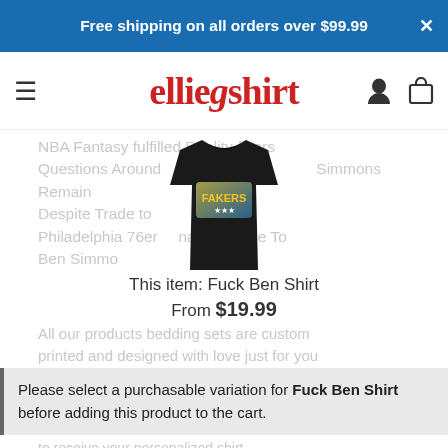Free shipping on all orders over $99.99
[Figure (logo): elliegshirt logo in red decorative font]
NBA Fantasy fulfilled Reality-flkers Questions Around Simmons Remain Despite Trade to Philadelphia 76ers. Final Message To Ben Simmons
[Figure (photo): Black t-shirt with colorful graphic print]
This item: Fuck Ben Shirt
From $19.99
All our products bedding sets are custom printed and designed with love just for you
Please select a purchasable variation for Fuck Ben Shirt before adding this product to the cart.
to receive your personalized shirt.
US — 5 days in — days
- 1 + OR ADD TO CART